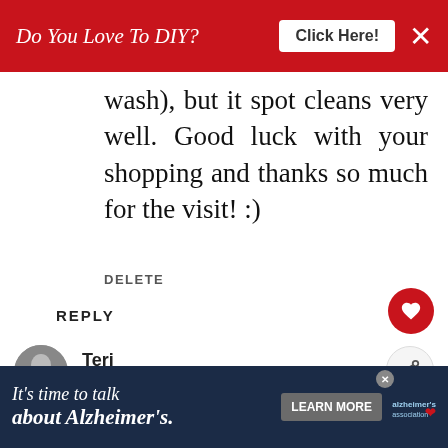[Figure (screenshot): Red advertisement banner at top: 'Do You Love To DIY?' with 'Click Here!' button and X close button]
wash), but it spot cleans very well. Good luck with your shopping and thanks so much for the visit! :)
DELETE
REPLY
Teri
FEBRUARY 21, 2016 AT 7:50 PM
Dear Kim ... such a cute l... that brightened my day. You just ... nk tha... ell... I
[Figure (screenshot): Bottom advertisement banner: It's time to talk about Alzheimer's. with Learn More button and Alzheimer's Association logo]
[Figure (screenshot): What's Next widget showing Yummy Accessories...]